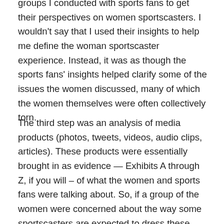groups I conducted with sports fans to get their perspectives on women sportscasters. I wouldn't say that I used their insights to help me define the woman sportscaster experience. Instead, it was as though the sports fans' insights helped clarify some of the issues the women discussed, many of which the women themselves were often collectively torn.
The third step was an analysis of media products (photos, tweets, videos, audio clips, articles). These products were essentially brought in as evidence — Exhibits A through Z, if you will – of what the women and sports fans were talking about. So, if a group of the women were concerned about the way some sportscasters are expected to dress these days, some of the photos I gathered might provide visual evidence of the current trend in clothing, while I might have also collected news articles that report why